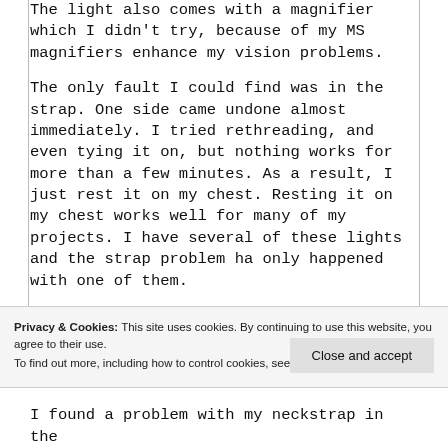The light also comes with a magnifier which I didn't try, because of my MS magnifiers enhance my vision problems.
The only fault I could find was in the strap. One side came undone almost immediately. I tried rethreading, and even tying it on, but nothing works for more than a few minutes. As a result, I just rest it on my chest. Resting it on my chest works well for many of my projects. I have several of these lights and the strap problem ha only happened with one of them.
Privacy & Cookies: This site uses cookies. By continuing to use this website, you agree to their use.
To find out more, including how to control cookies, see here: Cookie Policy
I found a problem with my neckstrap in the